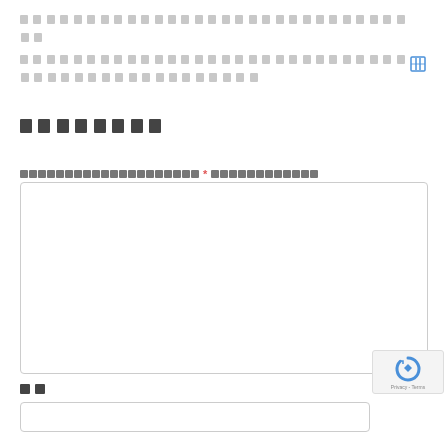[Thai text line 1] [Thai text line 2]
[Figure (other): Small blue icon resembling a table or grid, top right corner]
[Thai section title]
[Thai field label] * [Thai required indicator]
[Figure (other): Large empty textarea input field with rounded border]
[Figure (other): reCAPTCHA badge with Privacy - Terms text, bottom right]
[Thai label - two characters]
[Figure (other): Small empty text input field at bottom]